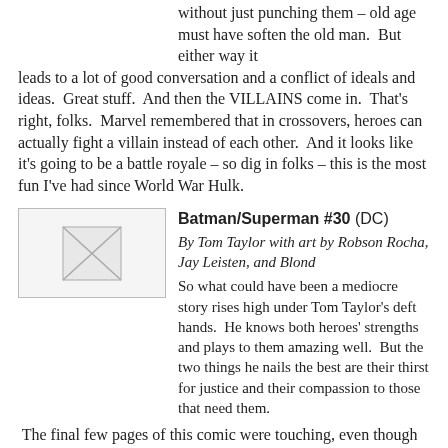without just punching them – old age must have soften the old man.  But either way it leads to a lot of good conversation and a conflict of ideals and ideas.  Great stuff.  And then the VILLAINS come in.  That's right, folks.  Marvel remembered that in crossovers, heroes can actually fight a villain instead of each other.  And it looks like it's going to be a battle royale – so dig in folks – this is the most fun I've had since World War Hulk.
[Figure (photo): Placeholder/broken image thumbnail for Batman/Superman #30 comic book cover]
Batman/Superman #30 (DC)
By Tom Taylor with art by Robson Rocha, Jay Leisten, and Blond
So what could have been a mediocre story rises high under Tom Taylor's deft hands.  He knows both heroes' strengths and plays to them amazing well.  But the two things he nails the best are their thirst for justice and their compassion to those that need them.
The final few pages of this comic were touching, even though the character was ill defined.  The art was also very impressive in this book as Superman and Batman looked very heroic throughout.  All in all, this proves that Mr. Taylor should be given a chance at either of characters in their own book or at least